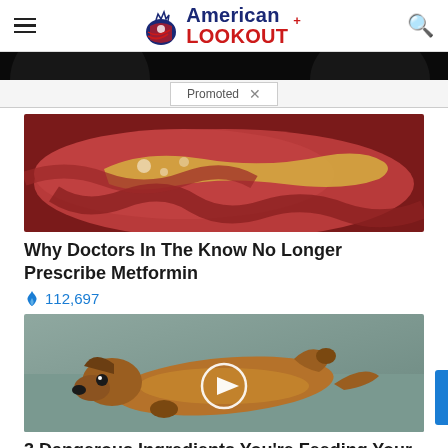American Lookout
[Figure (screenshot): Dark banner image with bowl-like shapes visible at edges]
Promoted X
[Figure (photo): Medical illustration of pancreas/organ tissue]
Why Doctors In The Know No Longer Prescribe Metformin
🔥 112,697
[Figure (photo): Photo of a dachshund dog lying on its back with a video play button overlay]
3 Dangerous Ingredients You're Feeding Your Dog
🔥 448